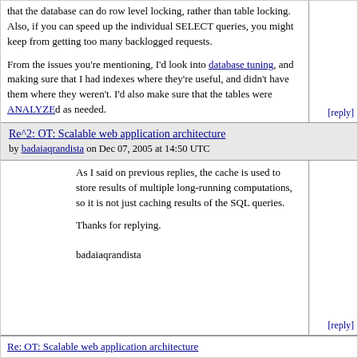that the database can do row level locking, rather than table locking. Also, if you can speed up the individual SELECT queries, you might keep from getting too many backlogged requests.

From the issues you're mentioning, I'd look into database tuning, and making sure that I had indexes where they're useful, and didn't have them where they weren't. I'd also make sure that the tables were ANALYZEd as needed.
[reply]
Re^2: OT: Scalable web application architecture
by badaiaqrandista on Dec 07, 2005 at 14:50 UTC
As I said on previous replies, the cache is used to store results of multiple long-running computations, so it is not just caching results of the SQL queries.

Thanks for replying.


badaiaqrandista
[reply]
Re: OT: Scalable web application architecture